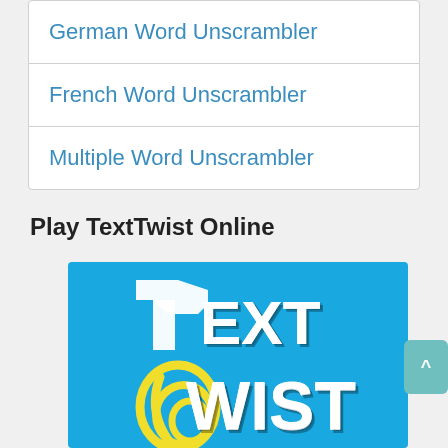German Word Unscrambler
French Word Unscrambler
Multiple Word Unscrambler
Play TextTwist Online
[Figure (logo): TextTwist game logo on a bright blue background with white 3D stylized letters spelling TEXT TWIST and a yellow swirl forming the letter T]